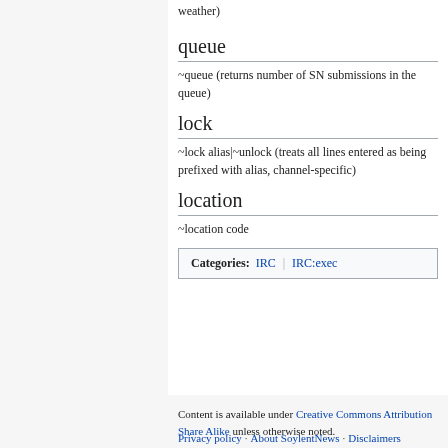weather)
queue
~queue (returns number of SN submissions in the queue)
lock
~lock alias|~unlock (treats all lines entered as being prefixed with alias, channel-specific)
location
~location code
Categories: IRC | IRC:exec
Content is available under Creative Commons Attribution Share Alike unless otherwise noted. Privacy policy · About SoylentNews · Disclaimers